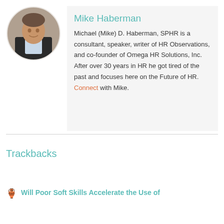[Figure (photo): Circular headshot portrait of Mike Haberman, a man in a dark blazer with light shirt, smiling, set against a neutral background.]
Mike Haberman
Michael (Mike) D. Haberman, SPHR is a consultant, speaker, writer of HR Observations, and co-founder of Omega HR Solutions, Inc. After over 30 years in HR he got tired of the past and focuses here on the Future of HR. Connect with Mike.
Trackbacks
Will Poor Soft Skills Accelerate the Use of…